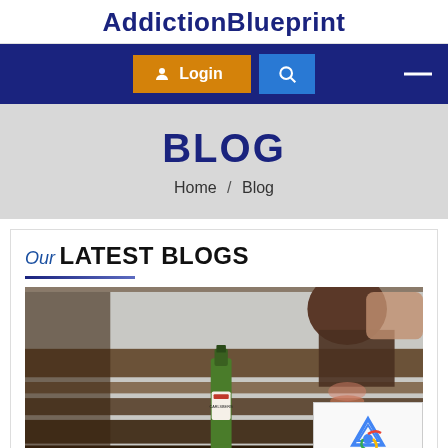AddictionBlueprint
Login  Search
BLOG
Home / Blog
Our
LATEST BLOGS
[Figure (photo): Photo of a person holding a beer bottle (Carlsberg) and a glass of wine on a wooden deck railing, shot from a low angle with a grey sky in the background.]